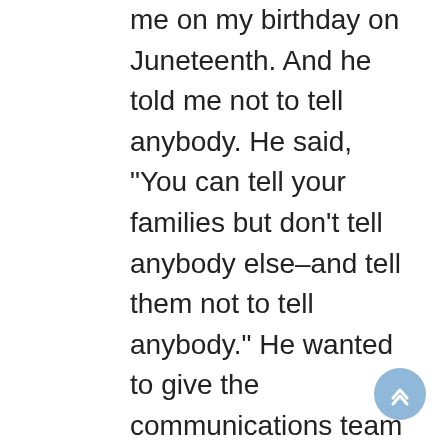me on my birthday on Juneteenth. And he told me not to tell anybody. He said, "You can tell your families but don't tell anybody else–and tell them not to tell anybody." He wanted to give the communications team enough time to put together a press release. Well, the very next morning, I flew to Morocco, and I'm sitting at the airport. . .we are sitting waiting for the next flight. And this woman traveling with me, she's like "Oh my God, Oh my God." I'm thinking, "Oh, my, what has happened?" You know, I'm panicking, because I'm thinking that she needs to go back